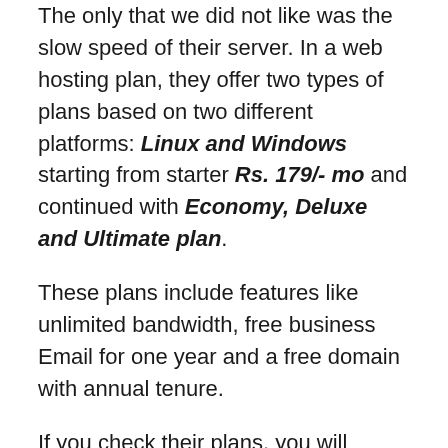The only that we did not like was the slow speed of their server. In a web hosting plan, they offer two types of plans based on two different platforms: Linux and Windows starting from starter Rs. 179/- mo and continued with Economy, Deluxe and Ultimate plan.
These plans include features like unlimited bandwidth, free business Email for one year and a free domain with annual tenure.
If you check their plans, you will notice that none of their plans offers Free SSL certificate for a lifetime, Free Spam Experts, Free Sitebuilder, etc. Whereas MilesWeb offers all